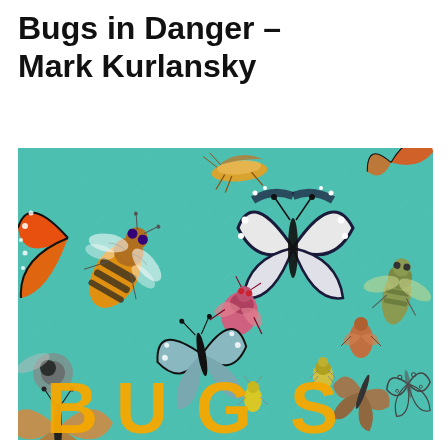Bugs in Danger – Mark Kurlansky
[Figure (illustration): Book cover of 'Bugs in Danger' by Mark Kurlansky showing a teal/turquoise background with illustrated insects including monarch butterflies, a honeybee, moths, dragonflies, beetles, and other bugs. Large orange-yellow letters spelling 'BUGS' appear at the bottom of the cover.]